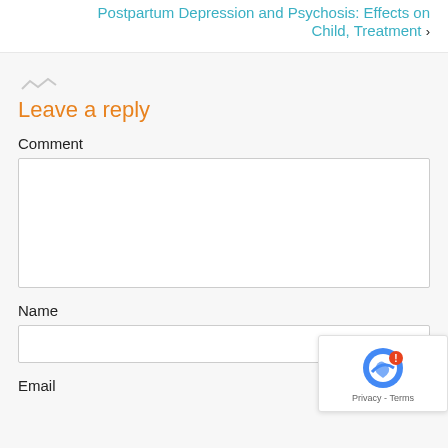Postpartum Depression and Psychosis: Effects on Child, Treatment ›
Leave a reply
Comment
Name
Email